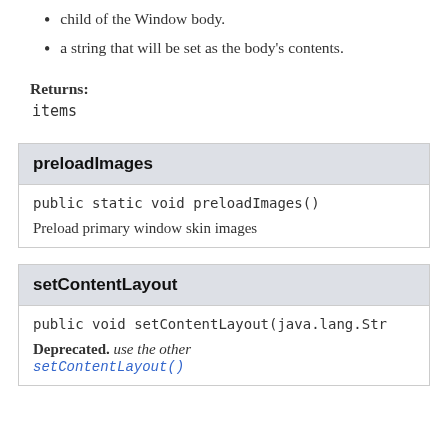child of the Window body.
a string that will be set as the body's contents.
Returns:
items
preloadImages
public static void preloadImages()
Preload primary window skin images
setContentLayout
public void setContentLayout(java.lang.Str…
Deprecated. use the other setContentLayout()